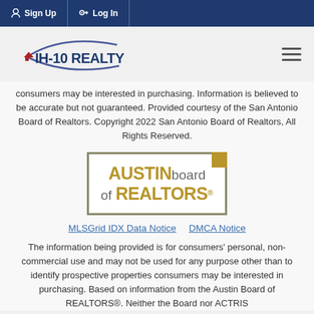Sign Up  Log In
[Figure (logo): IH-10 Realty logo with swoosh graphic and hamburger menu icon]
consumers may be interested in purchasing. Information is believed to be accurate but not guaranteed. Provided courtesy of the San Antonio Board of Realtors. Copyright 2022 San Antonio Board of Realtors, All Rights Reserved.
[Figure (logo): Austin Board of REALTORS® logo in gold and gray]
MLSGrid IDX Data Notice   DMCA Notice
The information being provided is for consumers' personal, non-commercial use and may not be used for any purpose other than to identify prospective properties consumers may be interested in purchasing. Based on information from the Austin Board of REALTORS®. Neither the Board nor ACTRIS